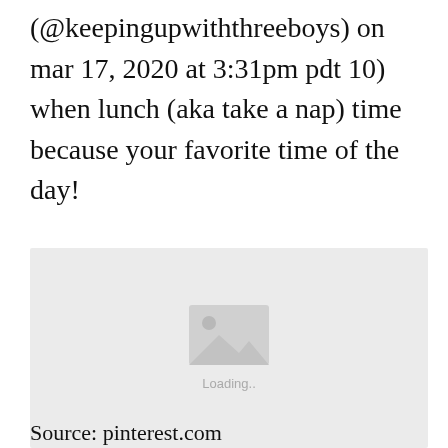(@keepingupwiththreeboys) on mar 17, 2020 at 3:31pm pdt 10) when lunch (aka take a nap) time because your favorite time of the day!
[Figure (photo): Image placeholder showing a loading state with a grey background, a landscape/photo icon in the center, and 'Loading..' text below it.]
Source: pinterest.com